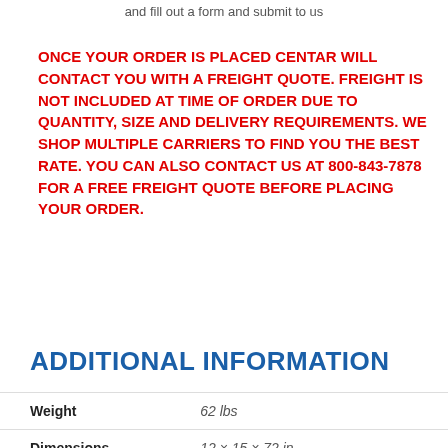and fill out a form and submit to us
ONCE YOUR ORDER IS PLACED CENTAR WILL CONTACT YOU WITH A FREIGHT QUOTE. FREIGHT IS NOT INCLUDED AT TIME OF ORDER DUE TO QUANTITY, SIZE AND DELIVERY REQUIREMENTS. WE SHOP MULTIPLE CARRIERS TO FIND YOU THE BEST RATE. YOU CAN ALSO CONTACT US AT 800-843-7878 FOR A FREE FREIGHT QUOTE BEFORE PLACING YOUR ORDER.
ADDITIONAL INFORMATION
| Weight | 62 lbs |
| Dimensions | 12 × 15 × 72 in |